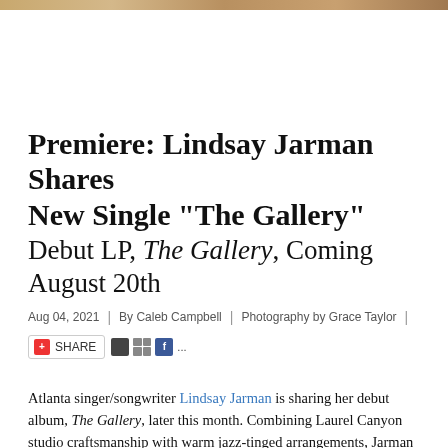[Figure (photo): Top decorative image bar with warm golden/brown tones]
Premiere: Lindsay Jarman Shares New Single “The Gallery”
Debut LP, The Gallery, Coming August 20th
Aug 04, 2021  |  By Caleb Campbell  |  Photography by Grace Taylor  |
[Figure (other): Share button and social media icons (share bar)]
Atlanta singer/songwriter Lindsay Jarman is sharing her debut album, The Gallery, later this month. Combining Laurel Canyon studio craftsmanship with warm jazz-tinged arrangements, Jarman exhibits a candid beauty that came from laying pain open to the world.